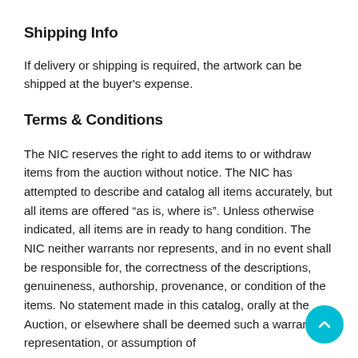Shipping Info
If delivery or shipping is required, the artwork can be shipped at the buyer's expense.
Terms & Conditions
The NIC reserves the right to add items to or withdraw items from the auction without notice. The NIC has attempted to describe and catalog all items accurately, but all items are offered “as is, where is”. Unless otherwise indicated, all items are in ready to hang condition. The NIC neither warrants nor represents, and in no event shall be responsible for, the correctness of the descriptions, genuineness, authorship, provenance, or condition of the items. No statement made in this catalog, orally at the Auction, or elsewhere shall be deemed such a warranty, representation, or assumption of